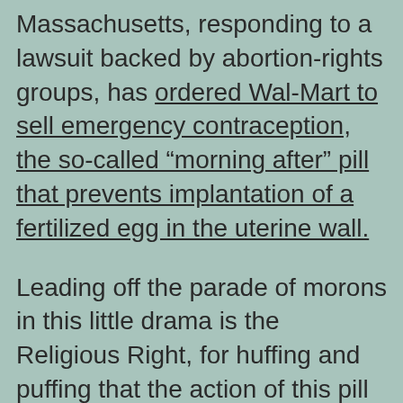Massachusetts, responding to a lawsuit backed by abortion-rights groups, has ordered Wal-Mart to sell emergency contraception, the so-called “morning after” pill that prevents implantation of a fertilized egg in the uterine wall.
Leading off the parade of morons in this little drama is the Religious Right, for huffing and puffing that the action of this pill is tantamount to killing a human being. Way to